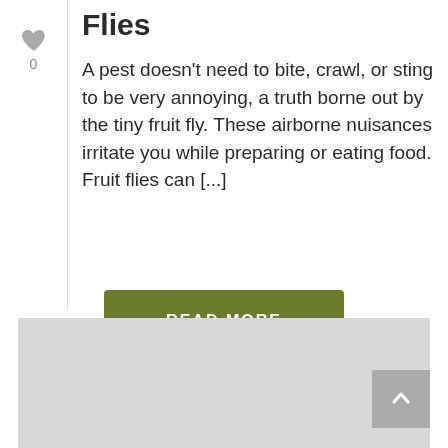Flies
A pest doesn't need to bite, crawl, or sting to be very annoying, a truth borne out by the tiny fruit fly. These airborne nuisances irritate you while preparing or eating food. Fruit flies can [...]
[Figure (other): Green 'READ MORE' button]
[Figure (map): Gray map area with scroll-to-top button in upper right corner]